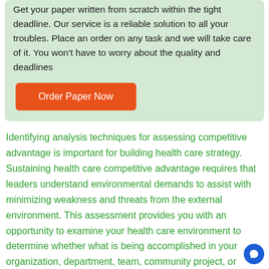Get your paper written from scratch within the tight deadline. Our service is a reliable solution to all your troubles. Place an order on any task and we will take care of it. You won't have to worry about the quality and deadlines
[Figure (other): Orange rounded rectangle button with white text 'Order Paper Now']
Identifying analysis techniques for assessing competitive advantage is important for building health care strategy. Sustaining health care competitive advantage requires that leaders understand environmental demands to assist with minimizing weakness and threats from the external environment. This assessment provides you with an opportunity to examine your health care environment to determine whether what is being accomplished in your organization, department, team, community project, or